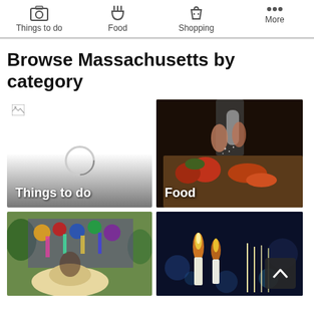Things to do | Food | Shopping | More
Browse Massachusetts by category
[Figure (screenshot): Things to do category tile - loading state with broken image icon and spinner, dark gradient overlay at bottom with white label 'Things to do']
[Figure (photo): Food category tile - chef grinding pepper over vegetables including tomatoes, with white label 'Food' at bottom left]
[Figure (photo): Shopping category tile - outdoor market with hats and colorful merchandise hanging]
[Figure (photo): More category tile - candles and bokeh lights in blue tones, with scroll-up arrow button overlay]